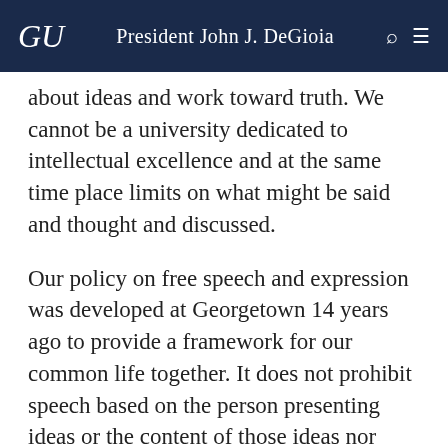GU  President John J. DeGioia
about ideas and work toward truth. We cannot be a university dedicated to intellectual excellence and at the same time place limits on what might be said and thought and discussed.
Our policy on free speech and expression was developed at Georgetown 14 years ago to provide a framework for our common life together. It does not prohibit speech based on the person presenting ideas or the content of those ideas nor does it mandate any mechanism by which the institution decides who gets to speak and who doesn't. We don't approve or endorse the speakers that come here. That's known and widely understood.